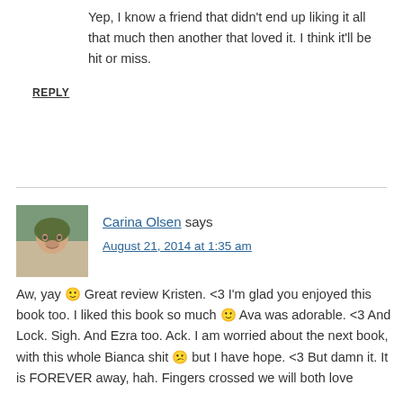Yep, I know a friend that didn't end up liking it all that much then another that loved it. I think it'll be hit or miss.
REPLY
Carina Olsen says
August 21, 2014 at 1:35 am
Aw, yay 🙂 Great review Kristen. <3 I'm glad you enjoyed this book too. I liked this book so much 🙂 Ava was adorable. <3 And Lock. Sigh. And Ezra too. Ack. I am worried about the next book, with this whole Bianca shit 😕 but I have hope. <3 But damn it. It is FOREVER away, hah. Fingers crossed we will both love the next 🙂 The change of main character 🙂